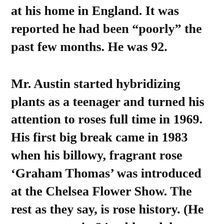at his home in England. It was reported he had been “poorly” the past few months. He was 92.
Mr. Austin started hybridizing plants as a teenager and turned his attention to roses full time in 1969. His first big break came in 1983 when his billowy, fragrant rose ‘Graham Thomas’ was introduced at the Chelsea Flower Show. The rest as they say, is rose history. (He went on to win 24 gold medals at Chelsea.)